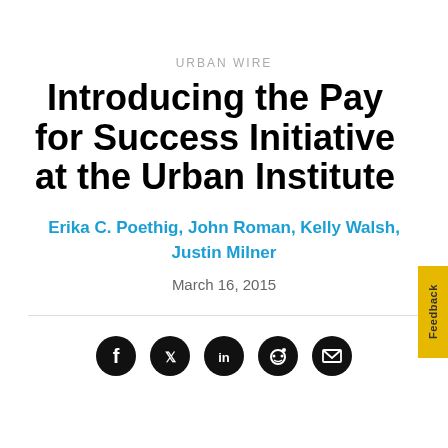URBAN WIRE
Introducing the Pay for Success Initiative at the Urban Institute
Erika C. Poethig, John Roman, Kelly Walsh, Justin Milner
March 16, 2015
[Figure (other): Social media sharing icons: Facebook, Twitter, LinkedIn, Reddit, Email]